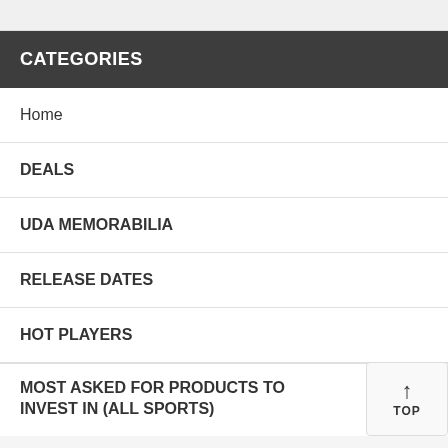CATEGORIES
Home
DEALS
UDA MEMORABILIA
RELEASE DATES
HOT PLAYERS
MOST ASKED FOR PRODUCTS TO INVEST IN (ALL SPORTS)